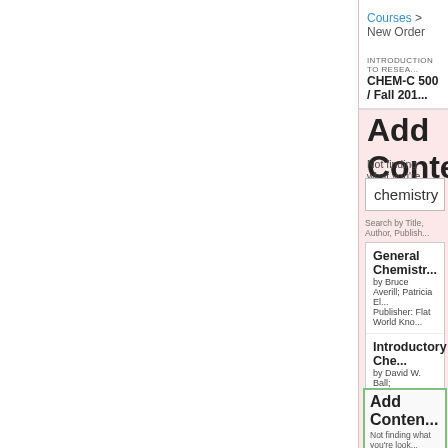Courses > New Order
INTRODUCTION TO RESEA...
CHEM-C 500 / Fall 201...
Add Conten...
Not finding what you're...
chemistry
Search by Title, Author, Publish...
General Chemistr...
by Bruce Averill; Patricia El...
Publisher: Flat World Kno...
Introductory Che...
by David W. Ball;
Publisher: Flat World Kno...
The Basics of Gen...
by David W. Ball; John W. H...
Publisher: Flat World Kno...
Add Conten...
Not finding what you're look...